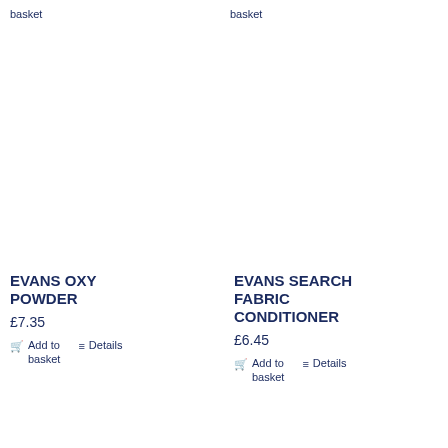basket
basket
EVANS OXY POWDER
£7.35
Add to basket
Details
EVANS SEARCH FABRIC CONDITIONER
£6.45
Add to basket
Details